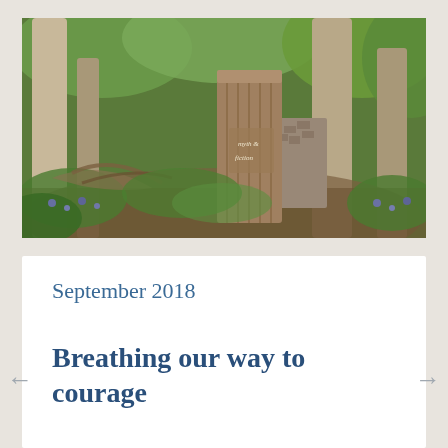[Figure (photo): A woodland scene with a rustic wooden gate between two trees, surrounded by green plants and bluebells, with a sign on the gate reading 'myth & fiction']
September 2018
Breathing our way to courage